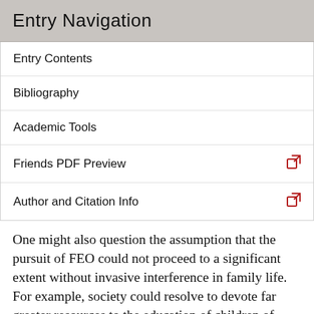Entry Navigation
Entry Contents
Bibliography
Academic Tools
Friends PDF Preview
Author and Citation Info
One might also question the assumption that the pursuit of FEO could not proceed to a significant extent without invasive interference in family life. For example, society could resolve to devote far greater resources to the education of children of poor and uneducated parents than to the education of other children. This would be done knowing that educated and wealthy parents will be inclined by affection for their children to give them special socialization and education advantages and that these will roughly counterbalance the special state expenditures on disadvantaged children. Policies of this